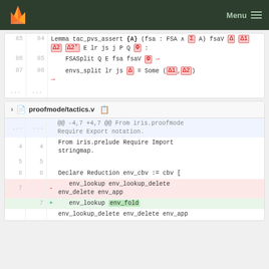GitLab — Menu
[Figure (screenshot): Code diff panel showing Lemma tac_pvs_assert with highlighted Greek symbols (Delta, Sigma, Phi) lines 85-87]
[Figure (screenshot): File header: proofmode/tactics.v with collapse and copy icons]
| old | new | op | code |
| --- | --- | --- | --- |
| ... | ... |  | @@ -4,7 +4,7 @@ From iris.proofmode Require Export notation. |
| 4 | 4 |  | From iris.prelude Require Import stringmap. |
| 5 | 5 |  |  |
| 6 | 6 |  | Declare Reduction env_cbv := cbv [ |
| 7 |  | - |   env_lookup env_lookup_delete env_delete env_app |
|  | 7 | + |   env_lookup env_fold |
|  |  |  | env_lookup_delete env_delete env_app |